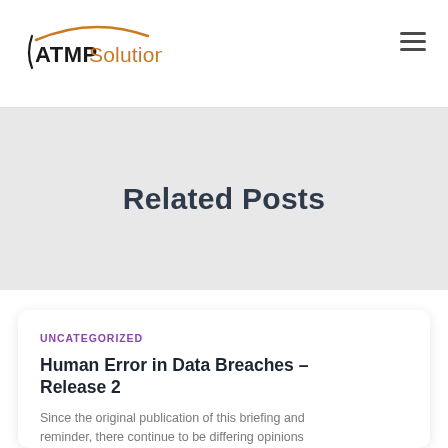ATMP Solutions
Related Posts
UNCATEGORIZED
Human Error in Data Breaches – Release 2
Since the original publication of this briefing and reminder, there continue to be differing opinions